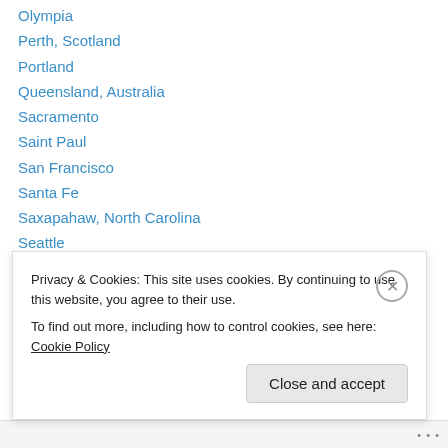Olympia
Perth, Scotland
Portland
Queensland, Australia
Sacramento
Saint Paul
San Francisco
Santa Fe
Saxapahaw, North Carolina
Seattle
Southern Tablelands, Australia
The Cotswolds, England
Utrecht, the Netherlands
Wellington, New Zealand (partial)
Privacy & Cookies: This site uses cookies. By continuing to use this website, you agree to their use. To find out more, including how to control cookies, see here: Cookie Policy
Close and accept